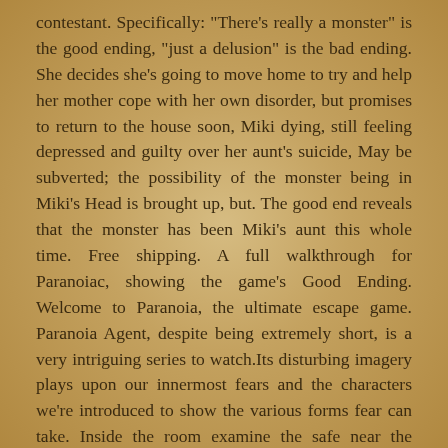contestant. Specifically: "There's really a monster" is the good ending, "just a delusion" is the bad ending. She decides she's going to move home to try and help her mother cope with her own disorder, but promises to return to the house soon, Miki dying, still feeling depressed and guilty over her aunt's suicide, May be subverted; the possibility of the monster being in Miki's Head is brought up, but. The good end reveals that the monster has been Miki's aunt this whole time. Free shipping. A full walkthrough for Paranoiac, showing the game's Good Ending. Welcome to Paranoia, the ultimate escape game. Paranoia Agent, despite being extremely short, is a very intriguing series to watch.Its disturbing imagery plays upon our innermost fears and the characters we're introduced to show the various forms fear can take. Inside the room examine the safe near the window on the left side and enter the password "saeki" to open it and find … After Miki asks Saeki's forgiveness, you see the scary images you usually see when the monster catches and kills you in a game over, but this time it comes across more like a hug than anything. Directed by Jacques Kluger. Otherwise, … Irrational distrust or suspicion of others, especially as occurring in people with psychiatric disorders such as paranoid personality disorder and schizophrenia: paranoia about neighbors stealing from his